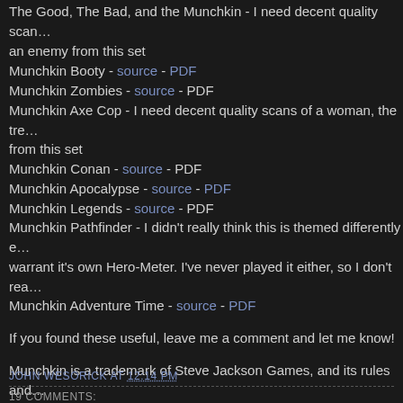The Good, The Bad, and the Munchkin - I need decent quality scans of an enemy from this set
Munchkin Booty - source - PDF
Munchkin Zombies - source - PDF
Munchkin Axe Cop - I need decent quality scans of a woman, the tre from this set
Munchkin Conan - source - PDF
Munchkin Apocalypse - source - PDF
Munchkin Legends - source - PDF
Munchkin Pathfinder - I didn't really think this is themed differently e warrant it's own Hero-Meter. I've never played it either, so I don't rea
Munchkin Adventure Time - source - PDF
If you found these useful, leave me a comment and let me know!
Munchkin is a trademark of Steve Jackson Games, and its rules and Steve Jackson Games. All rights are reserved by Steve Jackson Ga original creation of John Wesorick and is released for free distributio the permissions granted in the Steve Jackson Games Online Policy.
JOHN WESORICK AT 12:14 PM
19 COMMENTS: